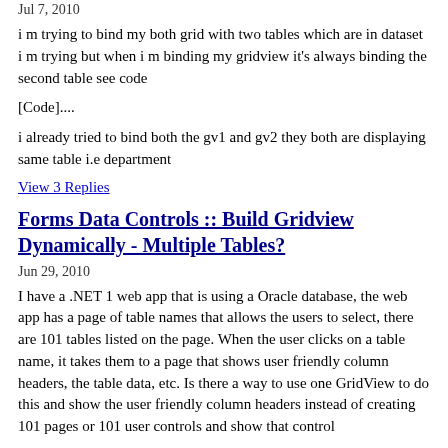Jul 7, 2010
i m trying to bind my both grid with two tables which are in dataset i m trying but when i m binding my gridview it's always binding the second table see code
[Code]....
i already tried to bind both the gv1 and gv2 they both are displaying same table i.e department
View 3 Replies
Forms Data Controls :: Build Gridview Dynamically - Multiple Tables?
Jun 29, 2010
I have a .NET 1 web app that is using a Oracle database, the web app has a page of table names that allows the users to select, there are 101 tables listed on the page. When the user clicks on a table name, it takes them to a page that shows user friendly column headers, the table data, etc. Is there a way to use one GridView to do this and show the user friendly column headers instead of creating 101 pages or 101 user controls and show that control